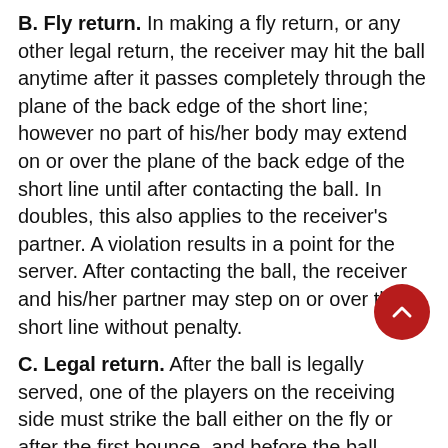B. Fly return. In making a fly return, or any other legal return, the receiver may hit the ball anytime after it passes completely through the plane of the back edge of the short line; however no part of his/her body may extend on or over the plane of the back edge of the short line until after contacting the ball. In doubles, this also applies to the receiver's partner. A violation results in a point for the server. After contacting the ball, the receiver and his/her partner may step on or over the short line without penalty.
C. Legal return. After the ball is legally served, one of the players on the receiving side must strike the ball either on the fly or after the first bounce, and before the ball touches the floor the second time, to return the ball to the front wall either directly or after it has touched one or both side walls, the back wall, the ceiling, or any combination of those surfaces. A returned ball may not touch the floor before touching the front wall. A ball may be played off the back wall as well as the front wall, provided the ball does not touch the floor...